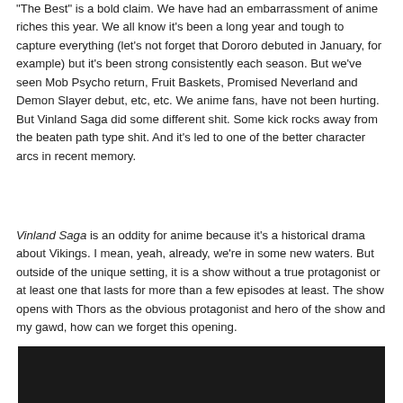"The Best" is a bold claim. We have had an embarrassment of anime riches this year. We all know it's been a long year and tough to capture everything (let's not forget that Dororo debuted in January, for example) but it's been strong consistently each season. But we've seen Mob Psycho return, Fruit Baskets, Promised Neverland and Demon Slayer debut, etc, etc. We anime fans, have not been hurting. But Vinland Saga did some different shit. Some kick rocks away from the beaten path type shit. And it's led to one of the better character arcs in recent memory.
Vinland Saga is an oddity for anime because it's a historical drama about Vikings. I mean, yeah, already, we're in some new waters. But outside of the unique setting, it is a show without a true protagonist or at least one that lasts for more than a few episodes at least. The show opens with Thors as the obvious protagonist and hero of the show and my gawd, how can we forget this opening.
[Figure (photo): Dark/black image, likely a screenshot or still from Vinland Saga anime]